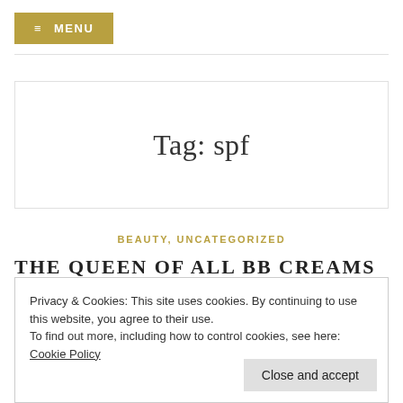≡ MENU
Tag: spf
BEAUTY, UNCATEGORIZED
THE QUEEN OF ALL BB CREAMS
Privacy & Cookies: This site uses cookies. By continuing to use this website, you agree to their use.
To find out more, including how to control cookies, see here: Cookie Policy
Close and accept